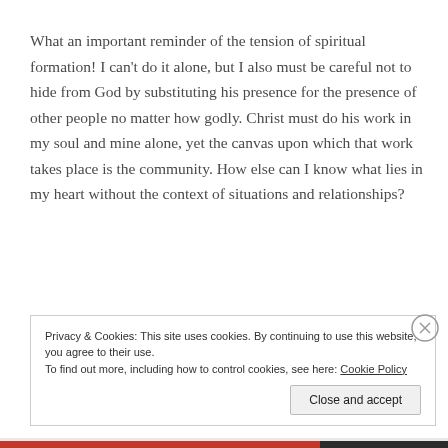What an important reminder of the tension of spiritual formation! I can't do it alone, but I also must be careful not to hide from God by substituting his presence for the presence of other people no matter how godly. Christ must do his work in my soul and mine alone, yet the canvas upon which that work takes place is the community. How else can I know what lies in my heart without the context of situations and relationships?
Privacy & Cookies: This site uses cookies. By continuing to use this website, you agree to their use. To find out more, including how to control cookies, see here: Cookie Policy